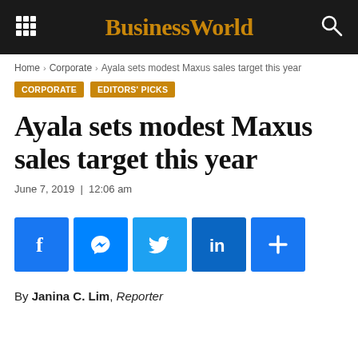BusinessWorld
Home › Corporate › Ayala sets modest Maxus sales target this year
CORPORATE   EDITORS' PICKS
Ayala sets modest Maxus sales target this year
June 7, 2019  |  12:06 am
[Figure (other): Social share buttons: Facebook, Messenger, Twitter, LinkedIn, More]
By Janina C. Lim, Reporter